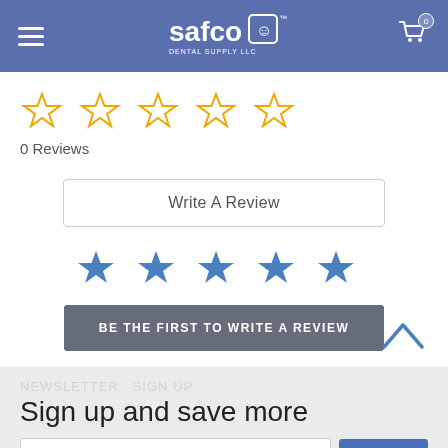safco DENTAL SUPPLY LLC
[Figure (other): 5 empty gold star rating icons indicating 0 reviews]
0 Reviews
Write A Review
[Figure (other): 5 filled blue star icons]
BE THE FIRST TO WRITE A REVIEW
Sign up and save more
Sign Up